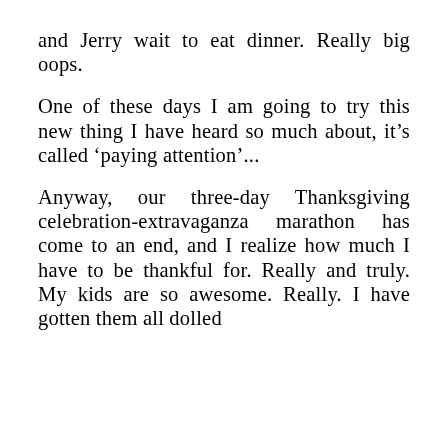and Jerry wait to eat dinner. Really big oops. One of these days I am going to try this new thing I have heard so much about, it's called 'paying attention'... Anyway, our three-day Thanksgiving celebration-extravaganza marathon has come to an end, and I realize how much I have to be thankful for. Really and truly. My kids are so awesome. Really. I have gotten them all dolled